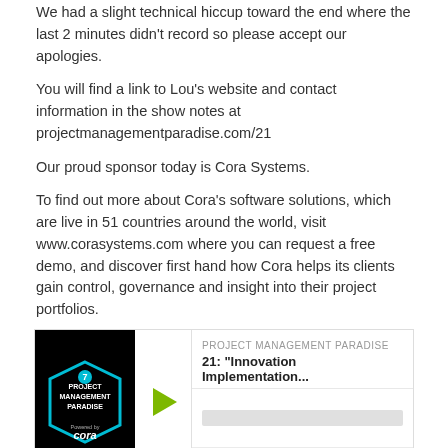We had a slight technical hiccup toward the end where the last 2 minutes didn't record so please accept our apologies.
You will find a link to Lou's website and contact information in the show notes at projectmanagementparadise.com/21
Our proud sponsor today is Cora Systems.
To find out more about Cora's software solutions, which are live in 51 countries around the world, visit www.corasystems.com where you can request a free demo, and discover first hand how Cora helps its clients gain control, governance and insight into their project portfolios.
[Figure (screenshot): Podcast player widget for Project Management Paradise episode 21: Innovation Implementation... showing play button, progress bar, timestamp 00:00:00, skip controls, and icons for RSS, download, embed, and settings. Thumbnail shows Project Management Paradise logo with Cora branding on black background.]
Download this Episode
20: Cora Client Case Study Interview with If...
Nov 4, 2016
This is Episode 20 of Project Management Paradise and my guest today